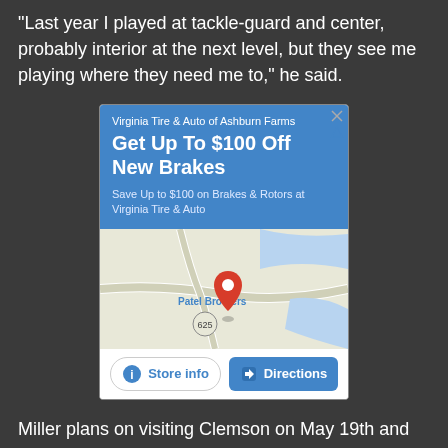“Last year I played at tackle-guard and center, probably interior at the next level, but they see me playing where they need me to,” he said.
[Figure (screenshot): Google Maps advertisement for Virginia Tire & Auto of Ashburn Farms showing 'Get Up To $100 Off New Brakes' with a map view showing Patel Brothers location marker and buttons for Store info and Directions]
Miller plans on visiting Clemson on May 19th and expects to see the Clemson and coaches he has grown to love.